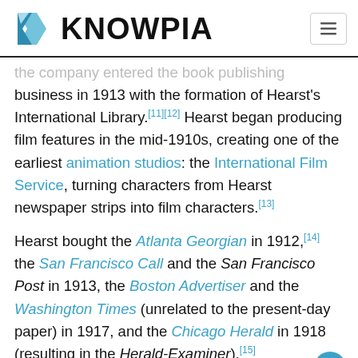KNOWPIA
the company entered the book publishing business in 1913 with the formation of Hearst's International Library.[11][12] Hearst began producing film features in the mid-1910s, creating one of the earliest animation studios: the International Film Service, turning characters from Hearst newspaper strips into film characters.[13]
Hearst bought the Atlanta Georgian in 1912,[14] the San Francisco Call and the San Francisco Post in 1913, the Boston Advertiser and the Washington Times (unrelated to the present-day paper) in 1917, and the Chicago Herald in 1918 (resulting in the Herald-Examiner).[15]
In 1919, Hearst's book publishing division was renamed Cosmopolitan Book.[11]